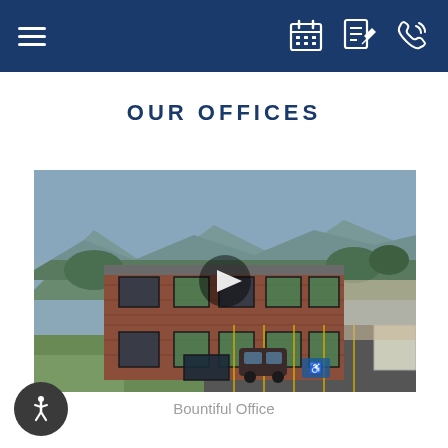Navigation header with hamburger menu and icons
OUR OFFICES
[Figure (photo): Aerial/drone view of a two-story brick office building with a parking lot, green mountains in the background, sunny day. A video play button is overlaid in the center.]
Bountiful Office